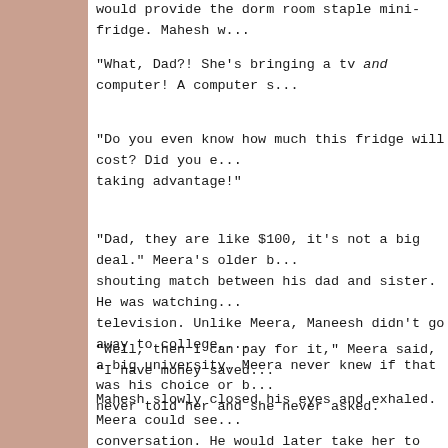would provide the dorm room staple mini-fridge. Mahesh w...
"What, Dad?! She's bringing a tv and computer! A computer s...
"Do you even know how much this fridge will cost? Did you e... taking advantage!"
"Dad, they are like $100, it's not a big deal." Meera's older b... shouting match between his dad and sister. He was watching... television. Unlike Meera, Maneesh didn't go away to college,... a big university. Meera never knew if that was his choice or b... never told her and she never asked.
"Well, then I can pay for it," Meera said, "I have money saved...
Mahesh slowly closed his eyes and exhaled. Meera could see... conversation. He would later take her to Meijer to buy the m... circular he perused earlier that day. As Meera took out her ca... and put his arm around her.